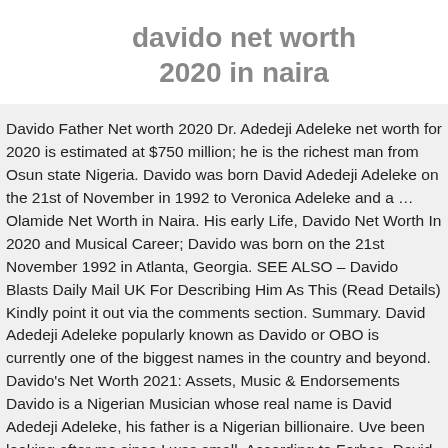davido net worth 2020 in naira
Davido Father Net worth 2020 Dr. Adedeji Adeleke net worth for 2020 is estimated at $750 million; he is the richest man from Osun state Nigeria. Davido was born David Adedeji Adeleke on the 21st of November in 1992 to Veronica Adeleke and a … Olamide Net Worth in Naira. His early Life, Davido Net Worth In 2020 and Musical Career; Davido was born on the 21st November 1992 in Atlanta, Georgia. SEE ALSO – Davido Blasts Daily Mail UK For Describing Him As This (Read Details) Kindly point it out via the comments section. Summary. David Adedeji Adeleke popularly known as Davido or OBO is currently one of the biggest names in the country and beyond. Davido's Net Worth 2021: Assets, Music & Endorsements Davido is a Nigerian Musician whose real name is David Adedeji Adeleke, his father is a Nigerian billionaire. Uve been looking after me since I was small. According to Forbes, David Adedeji Wadlington divorced his...